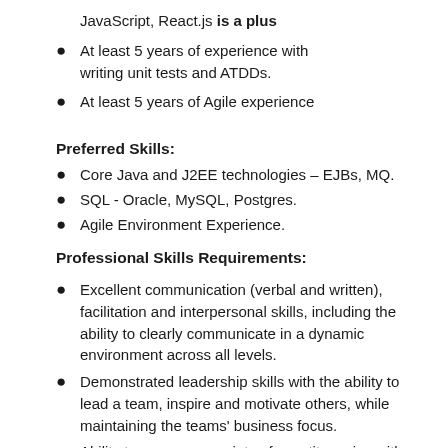JavaScript, React.js is a plus
At least 5 years of experience with writing unit tests and ATDDs.
At least 5 years of Agile experience
Preferred Skills:
Core Java and J2EE technologies – EJBs, MQ.
SQL - Oracle, MySQL, Postgres.
Agile Environment Experience.
Professional Skills Requirements:
Excellent communication (verbal and written), facilitation and interpersonal skills, including the ability to clearly communicate in a dynamic environment across all levels.
Demonstrated leadership skills with the ability to lead a team, inspire and motivate others, while maintaining the teams' business focus.
Ability to manage a variety of constituencies with